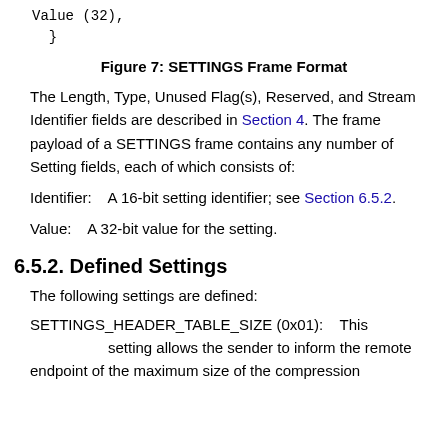Value (32),
}
Figure 7: SETTINGS Frame Format
The Length, Type, Unused Flag(s), Reserved, and Stream Identifier fields are described in Section 4. The frame payload of a SETTINGS frame contains any number of Setting fields, each of which consists of:
Identifier:    A 16-bit setting identifier; see Section 6.5.2.
Value:    A 32-bit value for the setting.
6.5.2. Defined Settings
The following settings are defined:
SETTINGS_HEADER_TABLE_SIZE (0x01):    This setting allows the sender to inform the remote endpoint of the maximum size of the compression